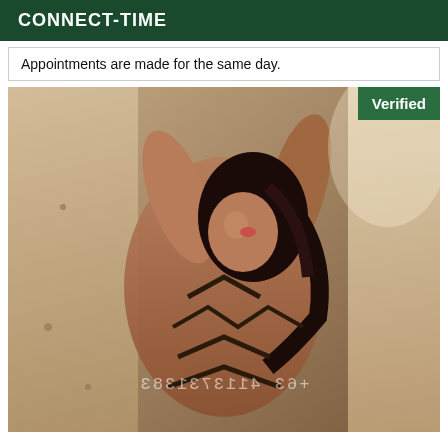CONNECT-TIME
Appointments are made for the same day.
[Figure (photo): Woman posing in lingerie with a 'Verified' badge overlay and a mirrored phone number watermark reading +63 4113731383]